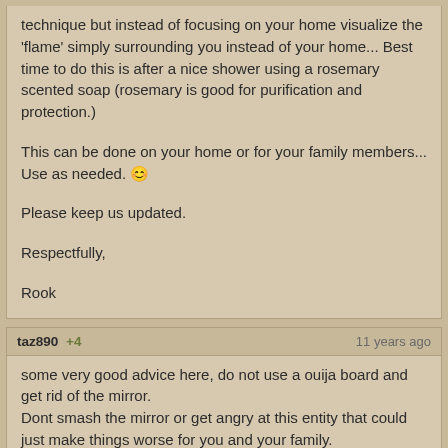technique but instead of focusing on your home visualize the 'flame' simply surrounding you instead of your home... Best time to do this is after a nice shower using a rosemary scented soap (rosemary is good for purification and protection.)
This can be done on your home or for your family members... Use as needed. 😊
Please keep us updated.
Respectfully,
Rook
taz890 +4    11 years ago
some very good advice here, do not use a ouija board and get rid of the mirror.
Dont smash the mirror or get angry at this entity that could just make things worse for you and your family.
Stay calm tell it it has to leave your home as it is un~welcome in your home.